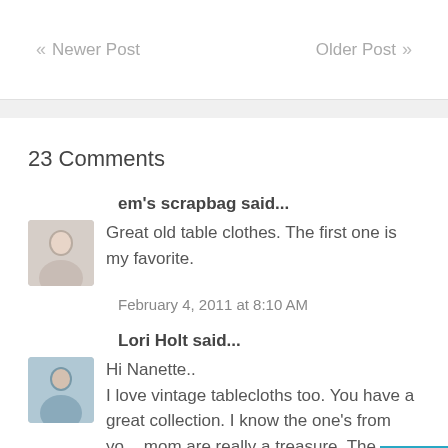« Newer Post    Older Post »
23 Comments
em's scrapbag said...
Great old table clothes. The first one is my favorite.
February 4, 2011 at 8:10 AM
Lori Holt said...
Hi Nanette..
I love vintage tablecloths too. You have a great collection. I know the one's from your mom are really a treasure. The Penn Dutch appeals to me too.. it brings back lots of